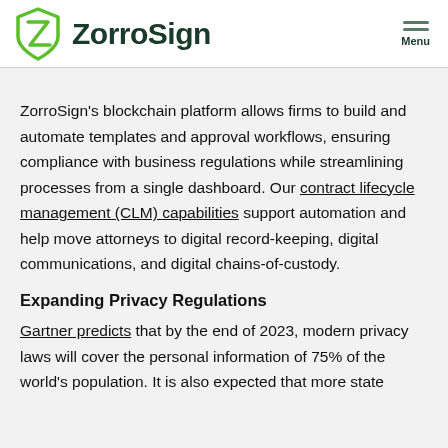ZorroSign Menu
ZorroSign's blockchain platform allows firms to build and automate templates and approval workflows, ensuring compliance with business regulations while streamlining processes from a single dashboard. Our contract lifecycle management (CLM) capabilities support automation and help move attorneys to digital record-keeping, digital communications, and digital chains-of-custody.
Expanding Privacy Regulations
Gartner predicts that by the end of 2023, modern privacy laws will cover the personal information of 75% of the world's population. It is also expected that more state